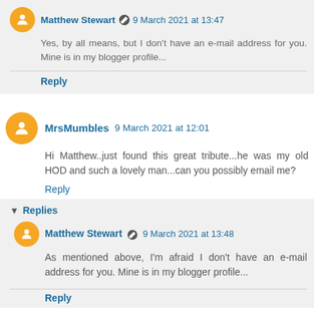Matthew Stewart 9 March 2021 at 13:47
Yes, by all means, but I don't have an e-mail address for you. Mine is in my blogger profile...
Reply
MrsMumbles 9 March 2021 at 12:01
Hi Matthew..just found this great tribute...he was my old HOD and such a lovely man...can you possibly email me?
Reply
▾ Replies
Matthew Stewart 9 March 2021 at 13:48
As mentioned above, I'm afraid I don't have an e-mail address for you. Mine is in my blogger profile...
Reply